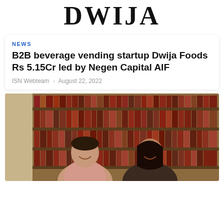[Figure (logo): DWIJA logo in large serif bold black text]
NEWS
B2B beverage vending startup Dwija Foods Rs 5.15Cr led by Negen Capital AIF
ISN Webteam  -  August 22, 2022
[Figure (photo): Two people (a man and a woman) smiling, seated in front of a large bookshelf filled with books]